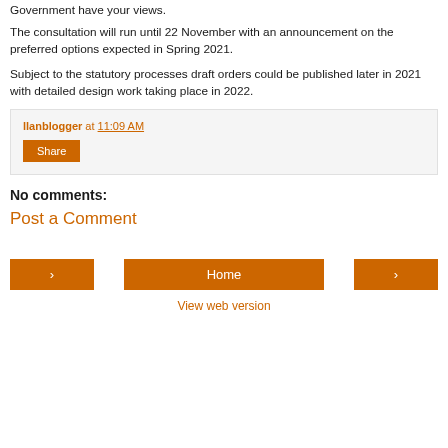Government have your views.
The consultation will run until 22 November with an announcement on the preferred options expected in Spring 2021.
Subject to the statutory processes draft orders could be published later in 2021 with detailed design work taking place in 2022.
llanblogger at 11:09 AM
Share
No comments:
Post a Comment
‹
Home
›
View web version